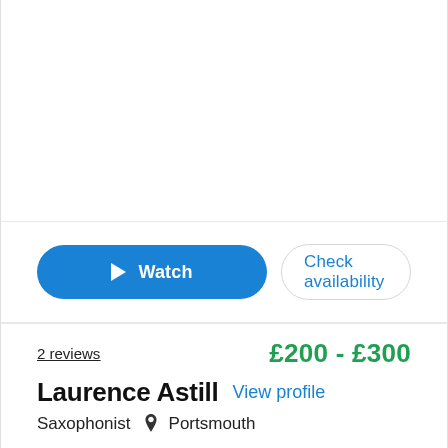[Figure (other): Empty white image area at the top of the profile card]
[Figure (other): Watch button (blue pill-shaped) with play icon and text 'Watch', and a 'Check availability' button (outlined pill-shaped)]
2 reviews
£200 - £300
Laurence Astill
View profile
Saxophonist  📍 Portsmouth
Laurence Astill is a classical saxophonist who is currently studying a Masters in Performance at the Royal College of music.